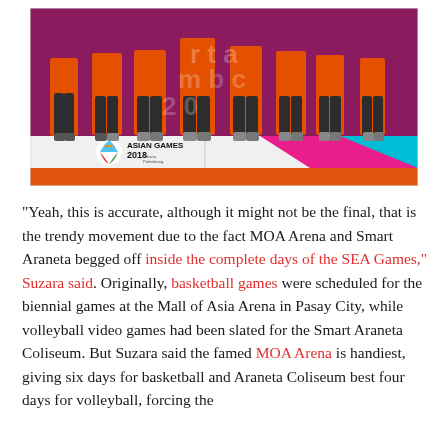[Figure (photo): Athletes in orange uniforms and dark pants standing on a podium at Asian Games 2018 Jakarta Palembang event, with the Asian Games 2018 logo and signage visible at the bottom.]
“Yeah, this is accurate, although it might not be the final, that is the trendy movement due to the fact MOA Arena and Smart Araneta begged off inside the complete days of the SEA Games,” Suzara said. Originally, basketball games were scheduled for the biennial games at the Mall of Asia Arena in Pasay City, while volleyball video games had been slated for the Smart Araneta Coliseum. But Suzara said the famed MOA Arena is handiest, giving six days for basketball and Araneta Coliseum best four days for volleyball, forcing the